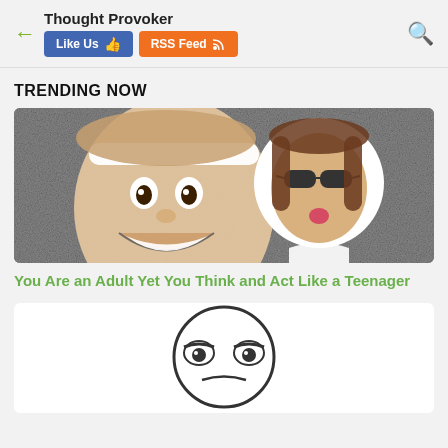Thought Provoker | Like Us | RSS Feed
TRENDING NOW
[Figure (photo): Two people making funny faces: a man with a white headband on left (color, black-and-white background), and a man with long hair and sunglasses in a white circle on right]
You Are an Adult Yet You Think and Act Like a Teenager
[Figure (illustration): A cartoon meme face drawing of a sad or tired face inside a circle outline, black line art on white background]